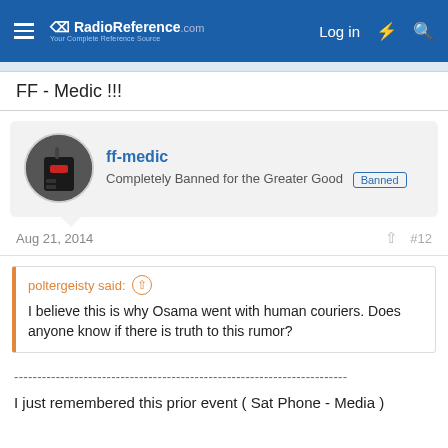RadioReference.com — Log in
FF - Medic !!!
ff-medic
Completely Banned for the Greater Good  Banned
Aug 21, 2014  #12
poltergeisty said:
I believe this is why Osama went with human couriers. Does anyone know if there is truth to this rumor?
------------------------------------------------------------------------
I just remembered this prior event ( Sat Phone - Media )